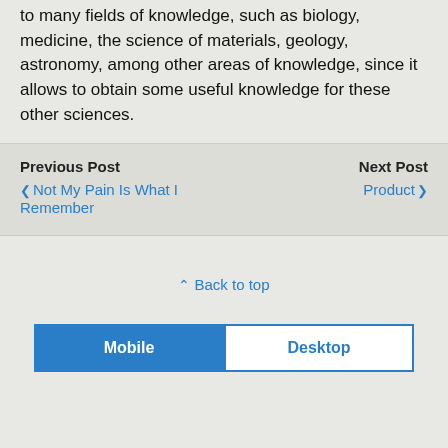to many fields of knowledge, such as biology, medicine, the science of materials, geology, astronomy, among other areas of knowledge, since it allows to obtain some useful knowledge for these other sciences.
Previous Post | Next Post | ❮ Not My Pain Is What I Remember | Product ❯
⌃ Back to top
Mobile | Desktop